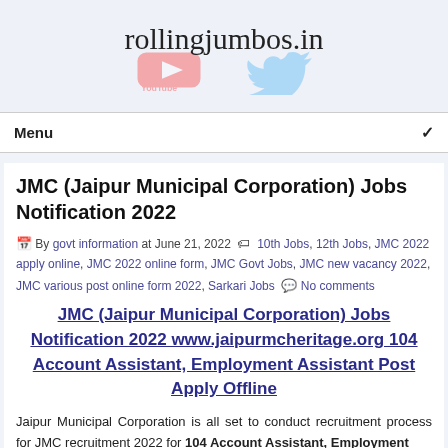rollingjumbos.in
Menu
JMC (Jaipur Municipal Corporation) Jobs Notification 2022
By govt information at June 21, 2022  10th Jobs, 12th Jobs, JMC 2022 apply online, JMC 2022 online form, JMC Govt Jobs, JMC new vacancy 2022, JMC various post online form 2022, Sarkari Jobs  No comments
JMC (Jaipur Municipal Corporation) Jobs Notification 2022 www.jaipurmcheritage.org 104 Account Assistant, Employment Assistant Post Apply Offline
Jaipur Municipal Corporation is all set to conduct recruitment process for JMC recruitment 2022 for 104 Account Assistant, Employment Assistant